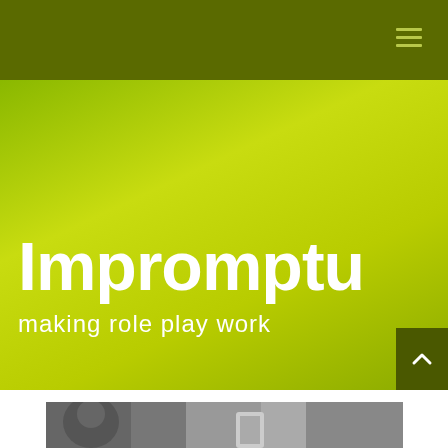Navigation bar with hamburger menu icon
Impromptu
making role play work
[Figure (screenshot): Scroll-to-top button with upward chevron arrow on dark olive/green background]
[Figure (photo): Black and white photograph showing people, partially visible at bottom of page]